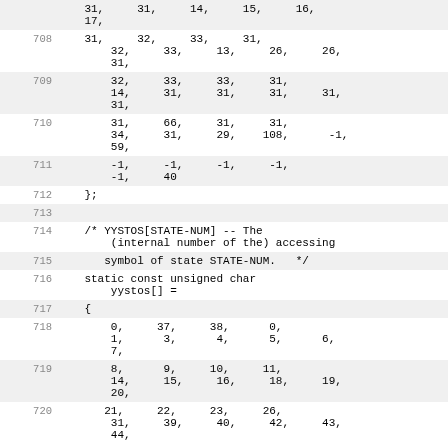31,     31,     14,     15,     16,
    17,
708     31,     32,     33,     31,
        32,     33,     13,     26,     26,
        31,
709         32,     33,     33,     31,
        14,     31,     31,     31,     31,
        31,
710         31,     66,     31,     31,
        34,     31,     29,    108,      -1,
        59,
711         -1,     -1,     -1,     -1,
        -1,     40
712     };
713
714     /* YYSTOS[STATE-NUM] -- The
        (internal number of the) accessing
715        symbol of state STATE-NUM.   */
716     static const unsigned char
        yystos[] =
717     {
718         0,     37,     38,      0,
        1,      3,      4,      5,      6,
        7,
719         8,      9,     10,     11,
        14,     15,     16,     18,     19,
        20,
720        21,     22,     23,     26,
        31,     39,     40,     42,     43,
        44,